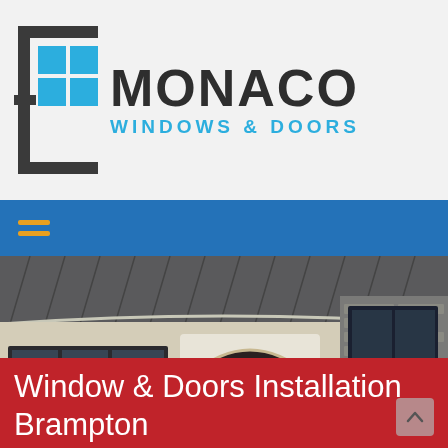[Figure (logo): Monaco Windows & Doors logo: square bracket icon with blue window panes grid, bold dark text MONACO, and blue subtitle WINDOWS & DOORS]
[Figure (other): Orange/yellow hamburger menu icon (three horizontal lines) on blue navigation bar]
[Figure (photo): Exterior photo of a luxury home showing a metal roof, arched front door with decorative glass panels, large black-framed casement windows, and stone facade on the right side]
Window & Doors Installation Brampton